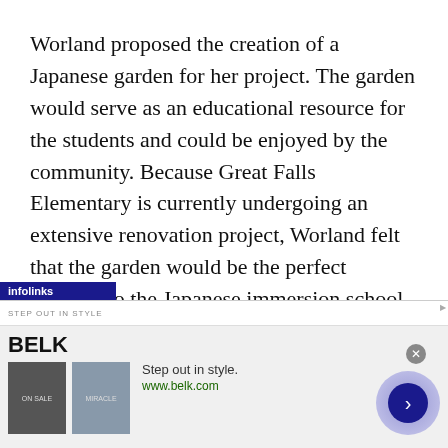Worland proposed the creation of a Japanese garden for her project. The garden would serve as an educational resource for the students and could be enjoyed by the community. Because Great Falls Elementary is currently undergoing an extensive renovation project, Worland felt that the garden would be the perfect addition to the Japanese immersion school when renovation is completed in fall 2010.
Known to the students as Sahara Sensei, Worland has been teaching Japanese in the Japanese partial-immersion program for 19 years. In Fairfax County Public Schools, students begin the Japanese partial-immersion program in first grade, where they are taught math, science, and health
[Figure (other): Infolinks advertisement bar overlay and BELK department store ad banner at bottom of page with two product images, tagline 'Step out in style.' and URL www.belk.com, with navigation arrow button]